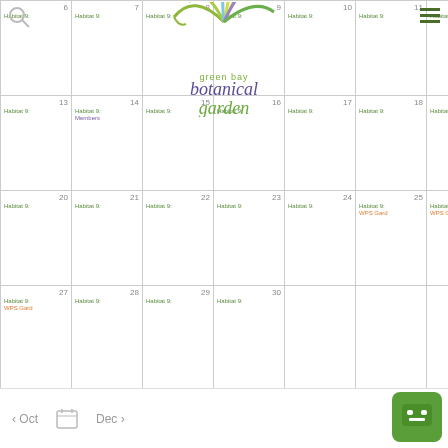[Figure (logo): Green Bay Botanical Garden logo with colorful plant fronds and text 'green bay botanical garden']
| Sun | Mon | Tue | Wed | Thu | Fri | Sat |
| --- | --- | --- | --- | --- | --- | --- |
| 6
Habitat 9: | 7
Habitat 9: | 8
Habitat 9: | 9
Habitat 9: | 10
Habitat 9: | 11
Habitat 9: | 12
Habitat 9: |
| 13
Habitat 9: | 14
Habitat 9:
Members | 15
Habitat 9: | 16
Habitat 9: | 17
Habitat 9: | 18
Habitat 9: | 19
Habitat 9: |
| 20
Habitat 9: | 21
Habitat 9: | 22
Habitat 9: | 23
Habitat 9: | 24
Habitat 9: | 25
Habitat 9:
WPS Gard | 26
Habitat 9:
WPS Gard |
| 27
Habitat 9:
WPS Gard | 28
Habitat 9: | 29
Habitat 9: | 30
Habitat 9: |  |  |  |
< Oct
Dec >